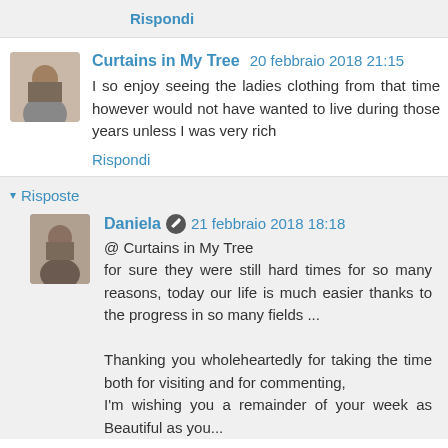Rispondi
Curtains in My Tree  20 febbraio 2018 21:15
I so enjoy seeing the ladies clothing from that time however would not have wanted to live during those years unless I was very rich
Rispondi
Risposte
Daniela  21 febbraio 2018 18:18
@ Curtains in My Tree
for sure they were still hard times for so many reasons, today our life is much easier thanks to the progress in so many fields ...

Thanking you wholeheartedly for taking the time both for visiting and for commenting,
I'm wishing you a remainder of your week as Beautiful as you...